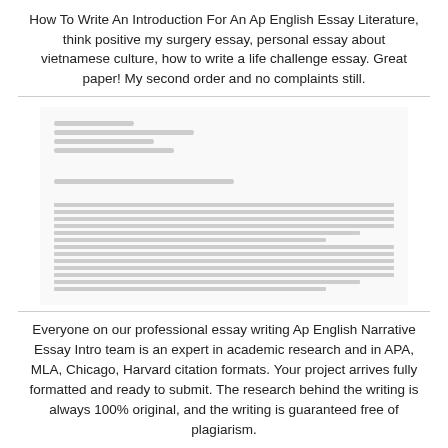How To Write An Introduction For An Ap English Essay Literature, think positive my surgery essay, personal essay about vietnamese culture, how to write a life challenge essay. Great paper! My second order and no complaints still.
[Figure (other): A blurred/redacted document image showing a formatted essay or letter with header lines and two paragraphs of body text, rendered in a low-resolution or privacy-obscured style.]
Everyone on our professional essay writing Ap English Narrative Essay Intro team is an expert in academic research and in APA, MLA, Chicago, Harvard citation formats. Your project arrives fully formatted and ready to submit. The research behind the writing is always 100% original, and the writing is guaranteed free of plagiarism.